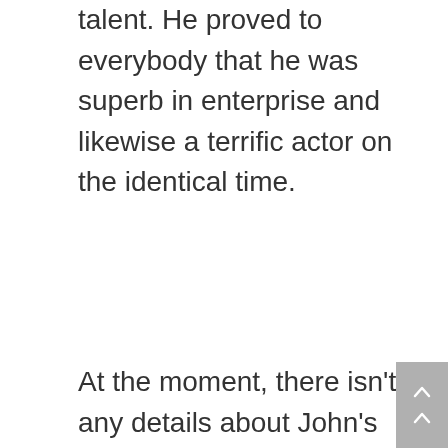talent. He proved to everybody that he was superb in enterprise and likewise a terrific actor on the identical time.
At the moment, there isn't any details about John's private life. There isn't any details about his companion and household at present. John at all